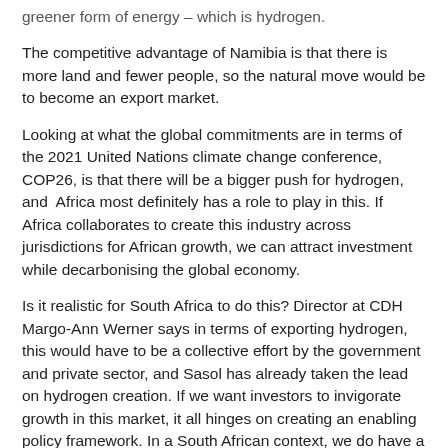greener form of energy – which is hydrogen.
The competitive advantage of Namibia is that there is more land and fewer people, so the natural move would be to become an export market.
Looking at what the global commitments are in terms of the 2021 United Nations climate change conference, COP26, is that there will be a bigger push for hydrogen, and  Africa most definitely has a role to play in this. If Africa collaborates to create this industry across jurisdictions for African growth, we can attract investment while decarbonising the global economy.
Is it realistic for South Africa to do this? Director at CDH Margo-Ann Werner says in terms of exporting hydrogen, this would have to be a collective effort by the government and private sector, and Sasol has already taken the lead on hydrogen creation. If we want investors to invigorate growth in this market, it all hinges on creating an enabling policy framework. In a South African context, we do have a few gears that will enable a hydrogen economy.